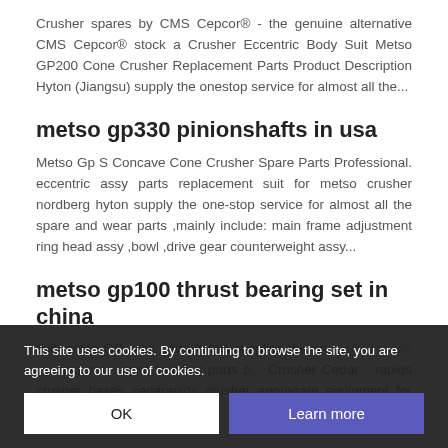Crusher spares by CMS Cepcor® - the genuine alternative CMS Cepcor® stock a Crusher Eccentric Body Suit Metso GP200 Cone Crusher Replacement Parts Product Description Hyton (Jiangsu) supply the onestop service for almost all the...
metso gp330 pinionshafts in usa
Metso Gp S Concave Cone Crusher Spare Parts Professional. eccentric assy parts replacement suit for metso crusher nordberg hyton supply the one-stop service for almost all the spare and wear parts ,mainly include: main frame adjustment ring head assy ,bowl ,drive gear counterweight assy...
metso gp100 thrust bearing set in china
suit metso GP... nt parts hyton supplies the on... p800 thrust bearing set... cone crusher parts b... Crusher Cedar... rapids crusher bases cedarapids crusher aggregate equipment for sale.
This site uses cookies. By continuing to browse the site, you are agreeing to our use of cookies.